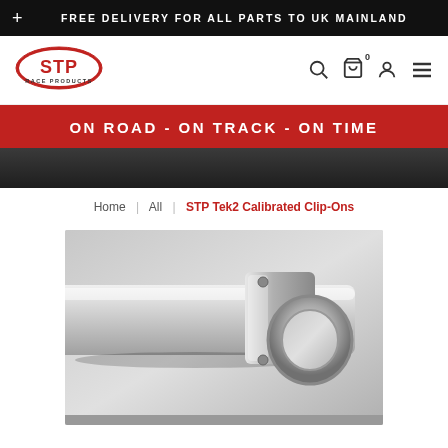+ FREE DELIVERY FOR ALL PARTS TO UK MAINLAND
[Figure (logo): STP Race Products logo - red oval with STP text]
ON ROAD - ON TRACK - ON TIME
[Figure (photo): Dark textured background strip]
Home | All | STP Tek2 Calibrated Clip-Ons
[Figure (photo): Close-up product photo of STP Tek2 Calibrated Clip-Ons - polished aluminium handlebar clamp]